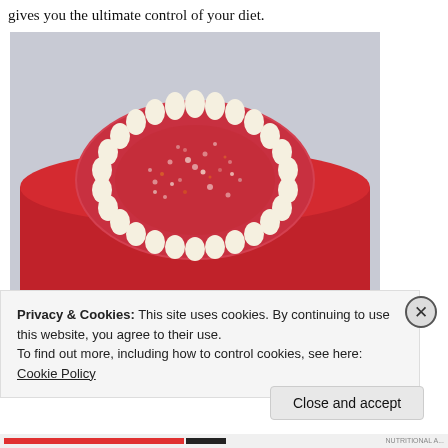gives you the ultimate control of your diet.
[Figure (photo): A red frosted cake with white cream piping around the edge and colorful sprinkles on top, viewed from slightly above.]
Privacy & Cookies: This site uses cookies. By continuing to use this website, you agree to their use.
To find out more, including how to control cookies, see here: Cookie Policy
Close and accept